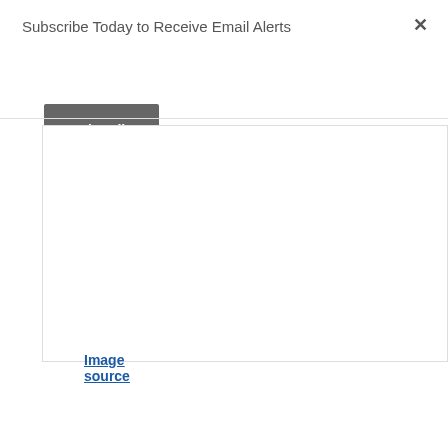Subscribe Today to Receive Email Alerts
Subscribe
[Figure (other): Empty white content box with thin border, likely containing an image or chart that is not visible in this view]
Image source